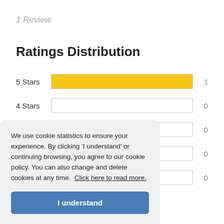1 Review
Ratings Distribution
[Figure (bar-chart): Ratings Distribution]
We use cookie statistics to ensure your experience. By clicking 'I understand' or continuing browsing, you agree to our cookie policy. You can also change and delete cookies at any time.  Click here to read more.